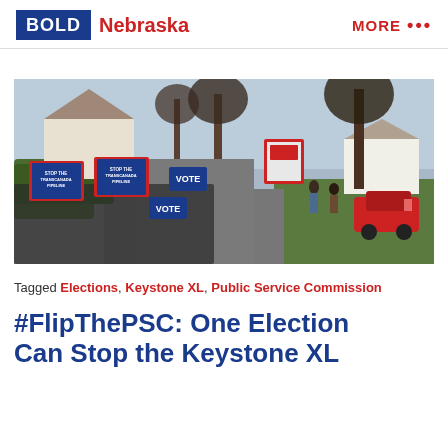BOLD Nebraska | MORE ...
[Figure (photo): Outdoor street scene with protesters holding signs reading 'Stop the TransCanada Pipeline' and 'VOTE', walking along a residential street lined with trees and houses, autumn setting.]
Tagged Elections, Keystone XL, Public Service Commission
#FlipThePSC: One Election Can Stop the Keystone XL